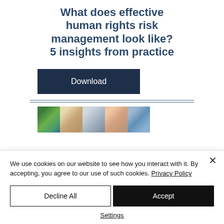What does effective human rights risk management look like?
5 insights from practice
Download
[Figure (photo): A horizontal strip of five photos: people in a field, hands with a ring, papers/documents, a smiling woman, a person at a building.]
We use cookies on our website to see how you interact with it. By accepting, you agree to our use of such cookies. Privacy Policy
Decline All
Accept
Settings